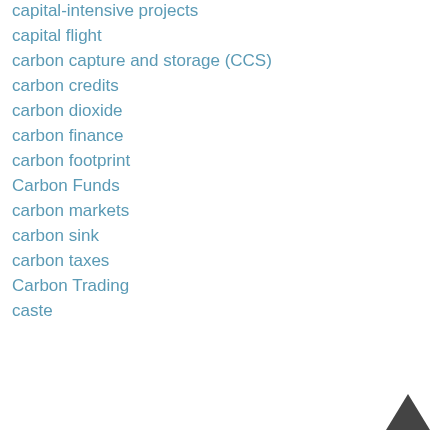capital-intensive projects
capital flight
carbon capture and storage (CCS)
carbon credits
carbon dioxide
carbon finance
carbon footprint
Carbon Funds
carbon markets
carbon sink
carbon taxes
Carbon Trading
caste